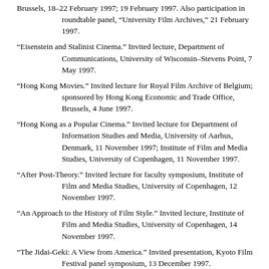Brussels, 18–22 February 1997; 19 February 1997. Also participation in roundtable panel, "University Film Archives," 21 February 1997.
"Eisenstein and Stalinist Cinema." Invited lecture, Department of Communications, University of Wisconsin–Stevens Point, 7 May 1997.
"Hong Kong Movies." Invited lecture for Royal Film Archive of Belgium; sponsored by Hong Kong Economic and Trade Office, Brussels, 4 June 1997.
"Hong Kong as a Popular Cinema." Invited lecture for Department of Information Studies and Media, University of Aarhus, Denmark, 11 November 1997; Institute of Film and Media Studies, University of Copenhagen, 11 November 1997.
"After Post-Theory." Invited lecture for faculty symposium, Institute of Film and Media Studies, University of Copenhagen, 12 November 1997.
"An Approach to the History of Film Style." Invited lecture, Institute of Film and Media Studies, University of Copenhagen, 14 November 1997.
"The Jidai-Geki: A View from America." Invited presentation, Kyoto Film Festival panel symposium, 13 December 1997.
"Homage to Sergei Eisenstein." Invited lecture.